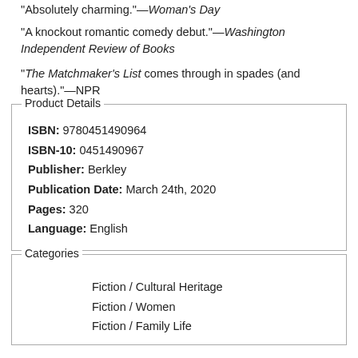"Absolutely charming."—Woman's Day
"A knockout romantic comedy debut."—Washington Independent Review of Books
"The Matchmaker's List comes through in spades (and hearts)."—NPR
Product Details
ISBN: 9780451490964
ISBN-10: 0451490967
Publisher: Berkley
Publication Date: March 24th, 2020
Pages: 320
Language: English
Categories
Fiction / Cultural Heritage
Fiction / Women
Fiction / Family Life